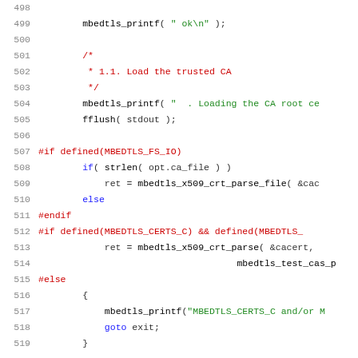Code listing lines 498-519, C source code with syntax highlighting